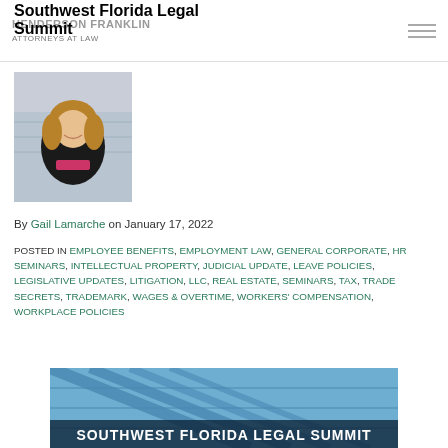The Henderson Franklin Attorneys at Law
Southwest Florida Legal Summit
[Figure (photo): Professional headshot of Gail Lamarche, a woman with shoulder-length blonde hair, wearing a black jacket and pink necklace, smiling in front of a glass building background.]
By Gail Lamarche on January 17, 2022
POSTED IN EMPLOYEE BENEFITS, EMPLOYMENT LAW, GENERAL CORPORATE, HR SEMINARS, INTELLECTUAL PROPERTY, JUDICIAL UPDATE, LEAVE POLICIES, LEGISLATIVE UPDATES, LITIGATION, LLC, REAL ESTATE, SEMINARS, TAX, TRADE SECRETS, TRADEMARK, WAGES & OVERTIME, WORKERS' COMPENSATION, WORKPLACE POLICIES
[Figure (photo): Southwest Florida Legal Summit banner image with blue geometric building/glass architecture in background and bold text reading SOUTHWEST FLORIDA LEGAL SUMMIT]